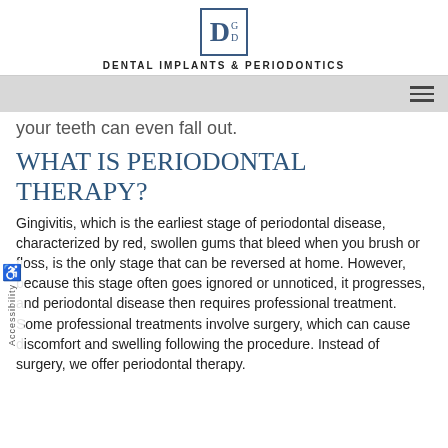DGD DENTAL IMPLANTS & PERIODONTICS
your teeth can even fall out.
WHAT IS PERIODONTAL THERAPY?
Gingivitis, which is the earliest stage of periodontal disease, characterized by red, swollen gums that bleed when you brush or floss, is the only stage that can be reversed at home. However, because this stage often goes ignored or unnoticed, it progresses, and periodontal disease then requires professional treatment. Some professional treatments involve surgery, which can cause discomfort and swelling following the procedure. Instead of surgery, we offer periodontal therapy.